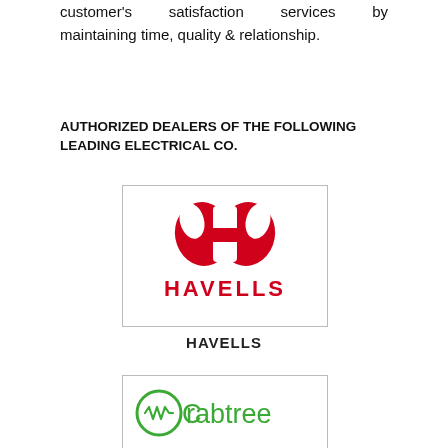customer's satisfaction services by maintaining time, quality & relationship.
AUTHORIZED DEALERS OF THE FOLLOWING LEADING ELECTRICAL CO.
[Figure (logo): Havells logo — red stylized H emblem above bold red HAVELLS text]
HAVELLS
[Figure (logo): Crabtree logo — green circle with waveform icon and Crabtree wordmark in green]